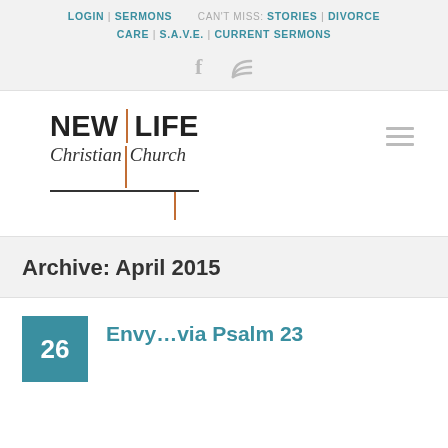LOGIN | SERMONS   CAN'T MISS: STORIES | DIVORCE
CARE | S.A.V.E. | CURRENT SERMONS
[Figure (logo): New Life Christian Church logo with cross graphic and social icons (Facebook, RSS)]
Archive: April 2015
Envy...via Psalm 23
26